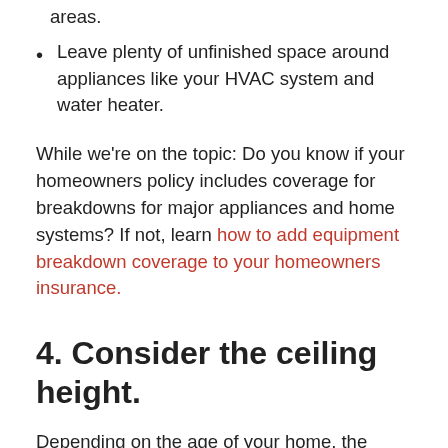areas.
Leave plenty of unfinished space around appliances like your HVAC system and water heater.
While we're on the topic: Do you know if your homeowners policy includes coverage for breakdowns for major appliances and home systems? If not, learn how to add equipment breakdown coverage to your homeowners insurance.
4. Consider the ceiling height.
Depending on the age of your home, the ceiling